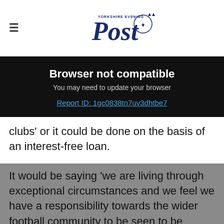Yorkshire Evening Post (logo)
Browser not compatible
You may need to update your browser
Report ID: 1gc0838tn7uv3dhtbe7
clubs' or it could be done on the basis of an interest-free loan.
It would be saying 'we are living through exceptional circumstances and we feel we have a responsibility towards the wider football community to be seen to be showing leadership and solidarity with those clubs'.